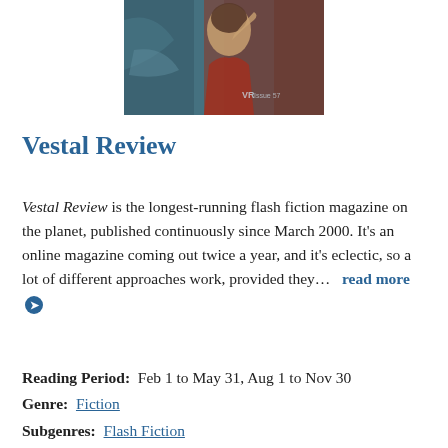[Figure (illustration): Magazine cover for Vestal Review Issue 57 showing a woman in red with artistic painterly style, teal/blue background. 'VR Issue 57' watermark visible in bottom right.]
Vestal Review
Vestal Review is the longest-running flash fiction magazine on the planet, published continuously since March 2000. It's an online magazine coming out twice a year, and it's eclectic, so a lot of different approaches work, provided they...   read more ➔
Reading Period:  Feb 1 to May 31, Aug 1 to Nov 30
Genre:  Fiction
Subgenres:  Flash Fiction